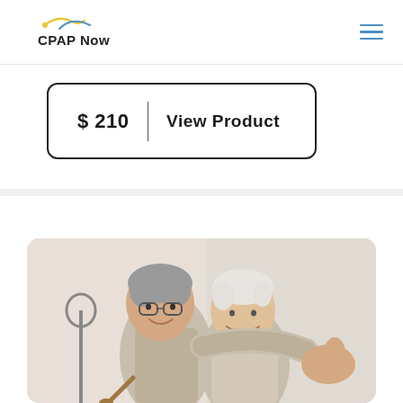CPAP Now
$ 210  |  View Product
[Figure (photo): Elderly couple smiling and cooking together in a kitchen, wearing aprons, man has glasses and grey hair, woman has short white hair]